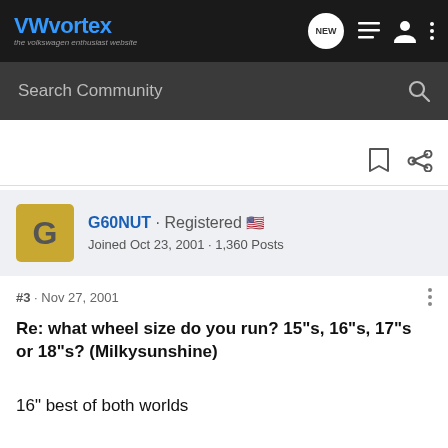VWvortex · the volkswagen enthusiast website
Search Community
G60NUT · Registered
Joined Oct 23, 2001 · 1,360 Posts
#3 · Nov 27, 2001
Re: what wheel size do you run? 15"s, 16"s, 17"s or 18"s? (Milkysunshine)
16" best of both worlds